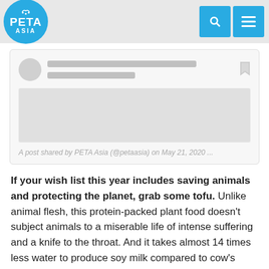[Figure (screenshot): PETA Asia website navigation bar with logo and search/menu icons]
[Figure (screenshot): Embedded social media post card showing a placeholder Instagram/social post by PETA Asia (@petaasia) on May 21, 2020]
A post shared by PETA Asia (@petaasia) on May 21, 2020 ...
If your wish list this year includes saving animals and protecting the planet, grab some tofu. Unlike animal flesh, this protein-packed plant food doesn’t subject animals to a miserable life of intense suffering and a knife to the throat. And it takes almost 14 times less water to produce soy milk compared to cow’s milk.
Going vegan could help prevent the next pandemic,